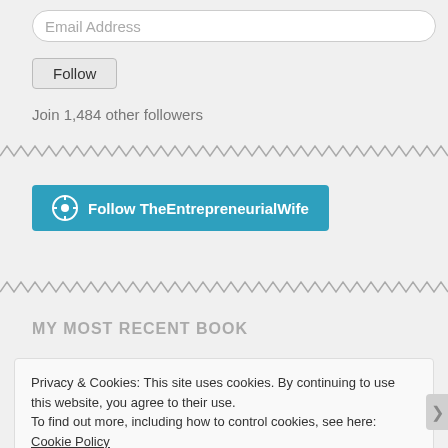Email Address
Follow
Join 1,484 other followers
[Figure (other): WordPress Follow TheEntrepreneurialWife button in teal]
MY MOST RECENT BOOK
Privacy & Cookies: This site uses cookies. By continuing to use this website, you agree to their use.
To find out more, including how to control cookies, see here: Cookie Policy
Close and accept